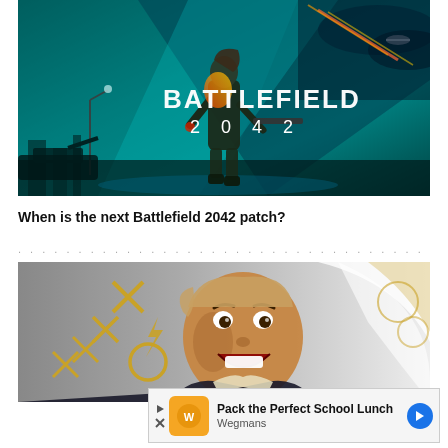[Figure (screenshot): Battlefield 2042 game promotional image showing a soldier with weapons against a teal/cyan stormy background with 'BATTLEFIELD 2042' text overlay]
When is the next Battlefield 2042 patch?
[Figure (screenshot): Screenshot showing a person with an excited expression, with gold X marks and abstract decorative elements in background]
[Figure (screenshot): Advertisement bar showing Wegmans 'Pack the Perfect School Lunch' ad with orange logo icon and blue arrow button]